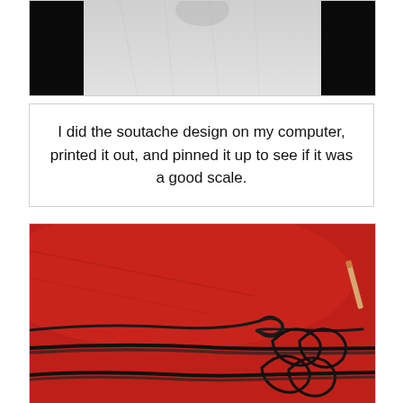[Figure (photo): Partial photo of a white garment/shirt against a dark background, cropped at top]
I did the soutache design on my computer, printed it out, and pinned it up to see if it was a good scale.
[Figure (photo): Photo of dark soutache braid trimming laid out on red fabric, showing decorative loops and knots in progress]